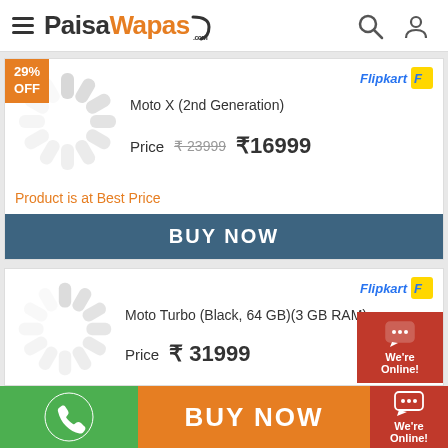PaisaWapas.com
[Figure (logo): PaisaWapas.com logo with hamburger menu, search icon, and user icon in header]
[Figure (screenshot): Product card for Moto X (2nd Generation) with 29% OFF badge, loading spinner image placeholder, Flipkart badge, price ₹16999 (original ₹23999), 'Product is at Best Price' text, and BUY NOW button]
Moto X (2nd Generation)
Price  ₹23999  ₹16999
Product is at Best Price
[Figure (screenshot): Product card for Moto Turbo (Black, 64 GB)(3 GB RAM) with Flipkart badge, loading spinner image placeholder, price ₹31999]
Moto Turbo (Black, 64 GB)(3 GB RAM)
Price  ₹ 31999
BUY NOW | We're Online!